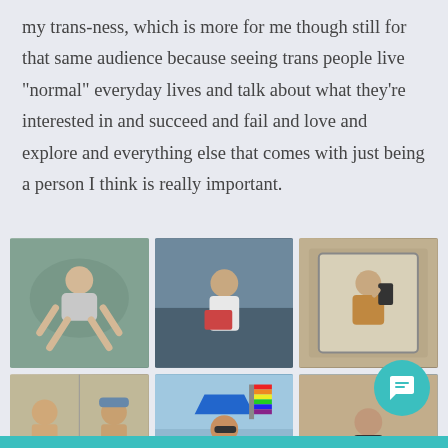my trans-ness, which is more for me though still for that same audience because seeing trans people live "normal" everyday lives and talk about what they're interested in and succeed and fail and love and explore and everything else that comes with just being a person I think is really important.
[Figure (photo): Grid of six social media style photos showing a person at the gym doing a core exercise, a person reading a book on a balcony, a mirror selfie in a tan jacket, two side-by-side shirtless photos, a person at an outdoor pride event with rainbow flag, and a person outdoors in a black t-shirt]